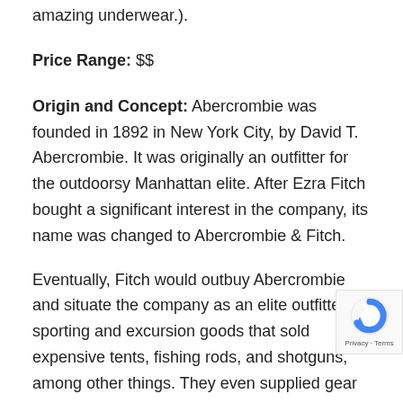amazing underwear.).
Price Range: $$
Origin and Concept: Abercrombie was founded in 1892 in New York City, by David T. Abercrombie. It was originally an outfitter for the outdoorsy Manhattan elite. After Ezra Fitch bought a significant interest in the company, its name was changed to Abercrombie & Fitch.
Eventually, Fitch would outbuy Abercrombie and situate the company as an elite outfitter of sporting and excursion goods that sold expensive tents, fishing rods, and shotguns, among other things. They even supplied gear for Theodore Roosevelt at one time, and Richard Byrd's Antarctica expedition. Hemingway was also a regular at the time
By 1970 a struggling economy forced them to forgo the most